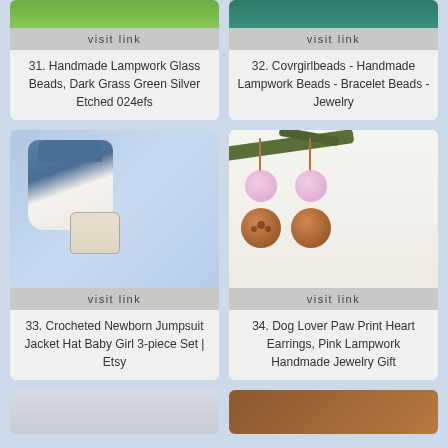[Figure (photo): Partial view of handmade lampwork glass bead in dark grass green color]
visit link
31. Handmade Lampwork Glass Beads, Dark Grass Green Silver Etched 024efs
[Figure (photo): Partial view of handmade lampwork bracelet beads]
visit link
32. Covrgirlbeads - Handmade Lampwork Beads - Bracelet Beads - Jewelry
[Figure (photo): Crocheted newborn jumpsuit jacket hat baby girl 3-piece set on light blue background]
visit link
33. Crocheted Newborn Jumpsuit Jacket Hat Baby Girl 3-piece Set | Etsy
[Figure (photo): Dog lover paw print heart earrings with pink lampwork glass beads and copper discs on evergreen branch background]
visit link
34. Dog Lover Paw Print Heart Earrings, Pink Lampwork Handmade Jewelry Gift
[Figure (photo): Partial view of item 35 - light colored craft item]
[Figure (photo): Partial view of item 36 - brown/amber colored item]